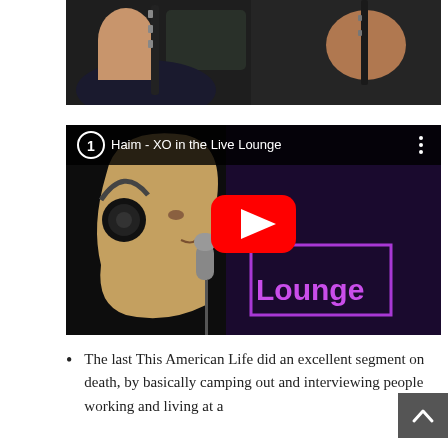[Figure (photo): Two musicians playing clarinets, partial view from side, dark background]
[Figure (screenshot): YouTube video thumbnail: Haim - XO in the Live Lounge. Shows a woman singing into a microphone wearing headphones with a purple 'Lounge' neon sign in background. Numbered playlist item #1 with YouTube play button overlay.]
The last This American Life did an excellent segment on death, by basically camping out and interviewing people working and living at a